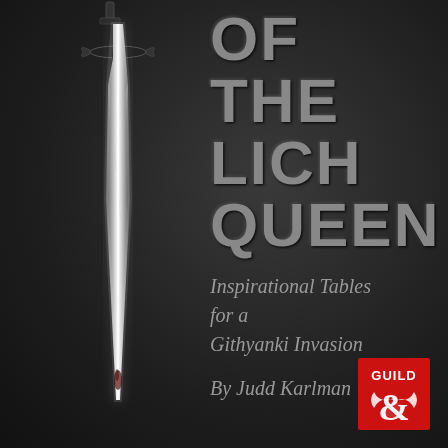[Figure (illustration): A long silver dagger or stiletto blade with ornate crossguard, glowing with a bright white light along its edge, positioned vertically against a dark background. The blade has intricate details and appears to have some dark staining near the tip.]
OF THE LICH QUEEN
Inspirational Tables for a Githyanki Invasion
By Judd Karlman
[Figure (logo): Dungeon Masters Guild (DM's Guild) logo: red square with white 'GUILD' text and a white dragon ampersand symbol below it.]